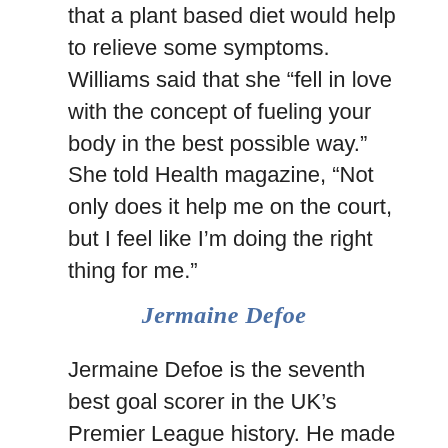that a plant based diet would help to relieve some symptoms. Williams said that she “fell in love with the concept of fueling your body in the best possible way.” She told Health magazine, “Not only does it help me on the court, but I feel like I’m doing the right thing for me.”
Jermaine Defoe
Jermaine Defoe is the seventh best goal scorer in the UK’s Premier League history. He made a comeback in March 2017, which he accredited to his new vegan